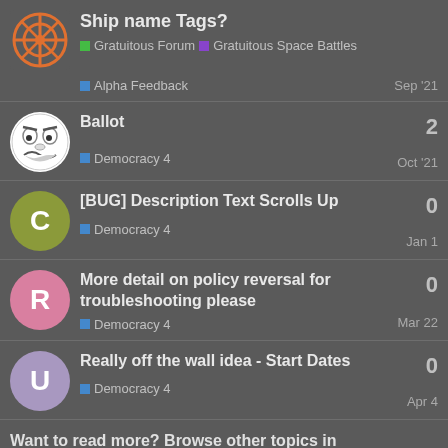Ship name Tags? — Gratuitous Forum | Gratuitous Space Battles > Alpha Feedback — Sep '21
Ballot — Democracy 4 — Oct '21 — 2 replies
[BUG] Description Text Scrolls Up — Democracy 4 — Jan 1 — 0 replies
More detail on policy reversal for troubleshooting please — Democracy 4 — Mar 22 — 0 replies
Really off the wall idea - Start Dates — Democracy 4 — Apr 4 — 0 replies
Want to read more? Browse other topics in
Gratuitous Space ... or view latest topics.